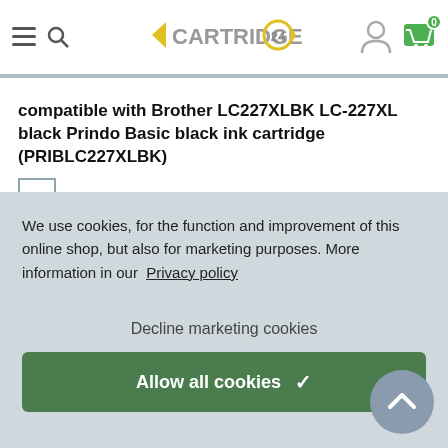CARTRIDGE 24
compatible with Brother LC227XLBK LC-227XL black Prindo Basic black ink cartridge (PRIBLC227XLBK)
We use cookies, for the function and improvement of this online shop, but also for marketing purposes. More information in our Privacy policy
Decline marketing cookies
Allow all cookies ✓